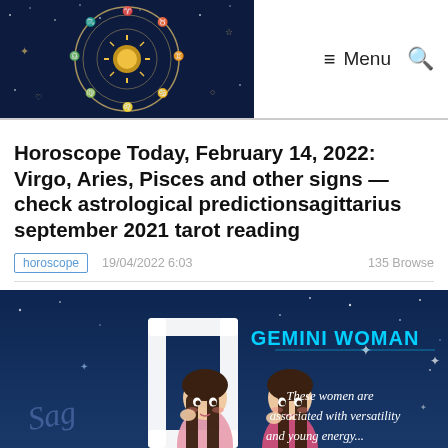Horoscope/Astrology website header with zodiac wheel logo, Menu and Search navigation
Horoscope Today, February 14, 2022: Virgo, Aries, Pisces and other signs — check astrological predictionsagittarius september 2021 tarot reading
horoscope   19/04/2022 6:03   135 Browse
[Figure (illustration): Gemini Woman illustration with two anime-style women with braided hair on a dark blue starry background. Text reads: GEMINI WOMAN — These women are associated with versatility and young energy...]